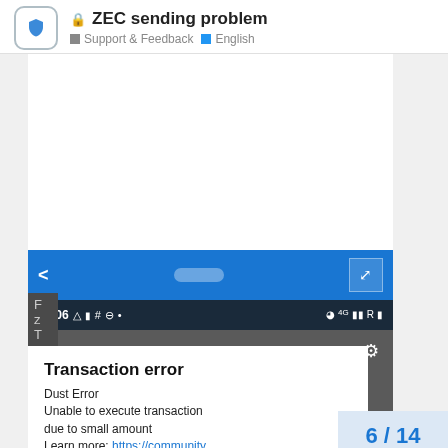🔒 ZEC sending problem — Support & Feedback · English
[Figure (screenshot): Mobile app screenshot showing a 'Confirm Transaction' screen with -16.780098 ZEC (£1,117.68) and a Transaction error dialog: 'Dust Error – Unable to execute transaction due to small amount. Learn more: https://community']
6 / 14